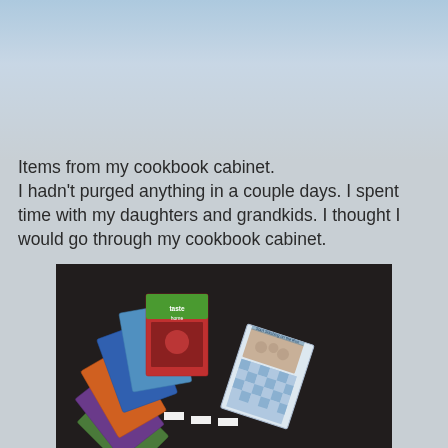Items from my cookbook cabinet.
I hadn't purged anything in a couple days. I spent time with my daughters and grandkids. I thought I would go through my cookbook cabinet.
[Figure (photo): A fan of Taste of Home magazines spread out on a dark carpet surface, alongside what appears to be a recipe booklet or pamphlet with a blue checkered cover showing pasta/food items.]